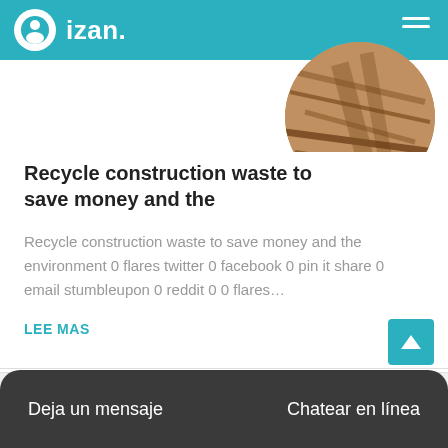izan.
[Figure (photo): Circular cropped photo of construction/wood waste materials in brown tones, positioned top right of the card]
Recycle construction waste to save money and the
Recycle construction waste to save money and the environment 0 flares twitter 0 facebook 0 pin it share 0 email stumbleupon 0 reddit 0 0 flares…
LEE MAS
[Figure (photo): Two circular thumbnail images at the bottom: left is a red/industrial circular device, center is a customer service representative with headset wearing purple]
Deja un mensaje   Chatear en línea